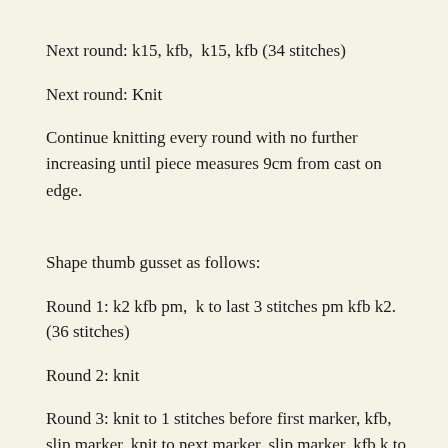Next round: k15, kfb,  k15, kfb (34 stitches)
Next round: Knit
Continue knitting every round with no further increasing until piece measures 9cm from cast on edge.
Shape thumb gusset as follows:
Round 1: k2 kfb pm,  k to last 3 stitches pm kfb k2. (36 stitches)
Round 2: knit
Round 3: knit to 1 stitches before first marker, kfb, slip marker, knit to next marker, slip marker, kfb k to end of round.